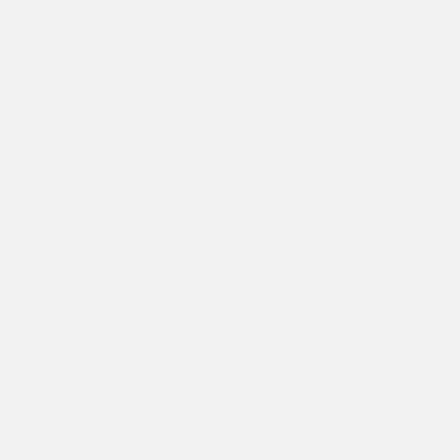[Figure (screenshot): A UI tab bar with two tabs: 'SATELLITE MAP' (active, underlined in blue) and 'ROADMAP' (inactive, gray text). The background is light gray. A thin horizontal divider line separates the tabs from the content area below.]